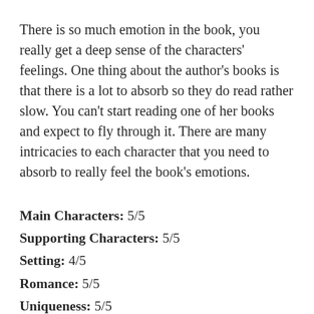There is so much emotion in the book, you really get a deep sense of the characters' feelings. One thing about the author's books is that there is a lot to absorb so they do read rather slow. You can't start reading one of her books and expect to fly through it. There are many intricacies to each character that you need to absorb to really feel the book's emotions.
Main Characters: 5/5
Supporting Characters: 5/5
Setting: 4/5
Romance: 5/5
Uniqueness: 5/5
Cover: 5/5 (I think I need to buy the finished version because my ARC didn't have this fantastic cover!)
Writing: 5/5